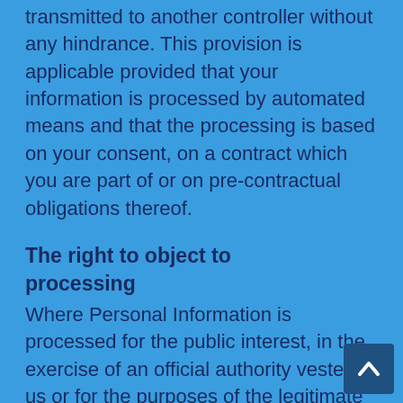transmitted to another controller without any hindrance. This provision is applicable provided that your information is processed by automated means and that the processing is based on your consent, on a contract which you are part of or on pre-contractual obligations thereof.
The right to object to processing
Where Personal Information is processed for the public interest, in the exercise of an official authority vested in us or for the purposes of the legitimate interests pursued by us, you may object to such processing by providing a ground